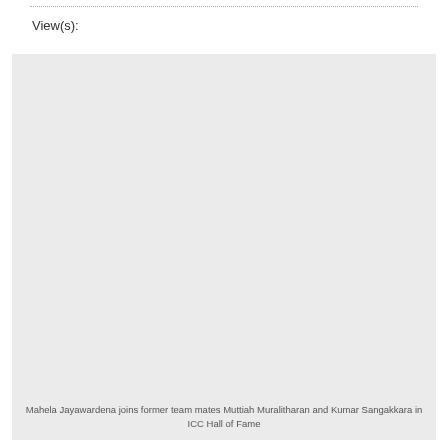View(s):
[Figure (photo): Large image placeholder with light gray background showing a photo related to Mahela Jayawardena joining the ICC Hall of Fame]
Mahela Jayawardena joins former team mates Muttiah Muralitharan and Kumar Sangakkara in ICC Hall of Fame